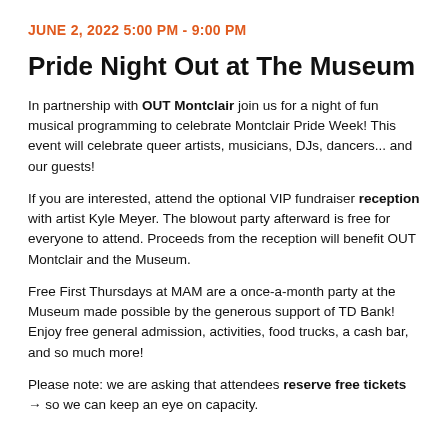JUNE 2, 2022 5:00 PM - 9:00 PM
Pride Night Out at The Museum
In partnership with OUT Montclair join us for a night of fun musical programming to celebrate Montclair Pride Week! This event will celebrate queer artists, musicians, DJs, dancers... and our guests!
If you are interested, attend the optional VIP fundraiser reception with artist Kyle Meyer. The blowout party afterward is free for everyone to attend. Proceeds from the reception will benefit OUT Montclair and the Museum.
Free First Thursdays at MAM are a once-a-month party at the Museum made possible by the generous support of TD Bank! Enjoy free general admission, activities, food trucks, a cash bar, and so much more!
Please note: we are asking that attendees reserve free tickets → so we can keep an eye on capacity.